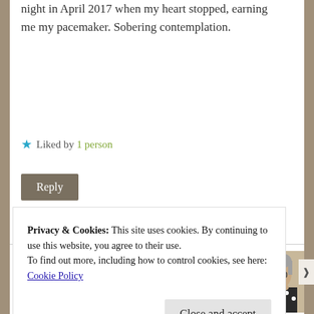night in April 2017 when my heart stopped, earning me my pacemaker. Sobering contemplation.
Liked by 1 person
Reply
Charmed Chaos
August 12, 2019
[Figure (photo): Avatar photo of Charmed Chaos commenter, a woman with glasses and gray hair wearing a black and white polka dot top]
Privacy & Cookies: This site uses cookies. By continuing to use this website, you agree to their use. To find out more, including how to control cookies, see here: Cookie Policy
Close and accept